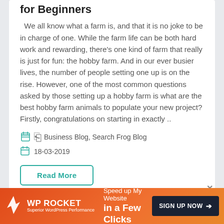for Beginners
We all know what a farm is, and that it is no joke to be in charge of one. While the farm life can be both hard work and rewarding, there's one kind of farm that really is just for fun: the hobby farm. And in our ever busier lives, the number of people setting one up is on the rise. However, one of the most common questions asked by those setting up a hobby farm is what are the best hobby farm animals to populate your new project? Firstly, congratulations on starting in exactly ..
Business Blog, Search Frog Blog
18-03-2019
Read More
[Figure (other): WP Rocket advertisement banner: orange gradient background with WP ROCKET logo on left, tagline 'Speed up My Website in a Few Clicks' in center, and dark 'SIGN UP NOW →' button on right]